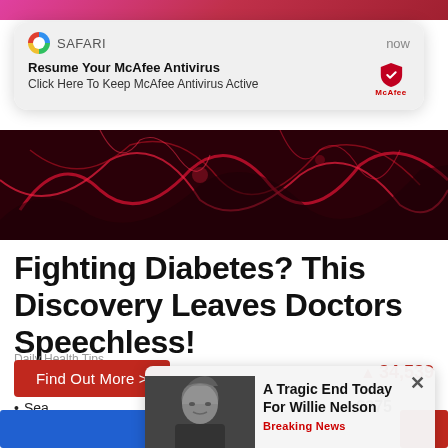[Figure (screenshot): Safari browser notification popup for McAfee Antivirus]
Resume Your McAfee Antivirus
Click Here To Keep McAfee Antivirus Active
[Figure (photo): Close-up of red blood vessels or abstract red tissue]
Fighting Diabetes? This Discovery Leaves Doctors Speechless!
Daily Health Tips
Find Out More >
▲34,539
Sea
[Figure (screenshot): Ad popup with photo of Willie Nelson]
A Tragic End Today For Willie Nelson
Breaking News
$375